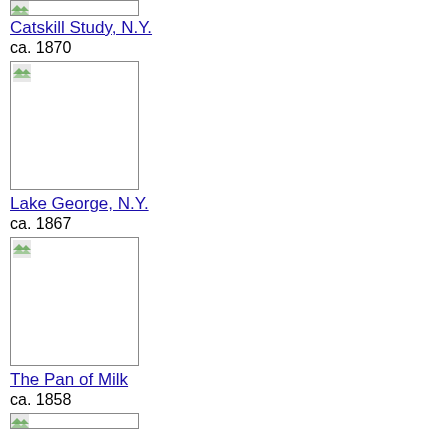[Figure (photo): Partial thumbnail image at top of page (cropped)]
Catskill Study, N.Y.
ca. 1870
[Figure (photo): Thumbnail image for Catskill Study, N.Y., ca. 1870]
Lake George, N.Y.
ca. 1867
[Figure (photo): Thumbnail image for Lake George, N.Y., ca. 1867]
The Pan of Milk
ca. 1858
[Figure (photo): Partial thumbnail image at bottom of page (cropped)]